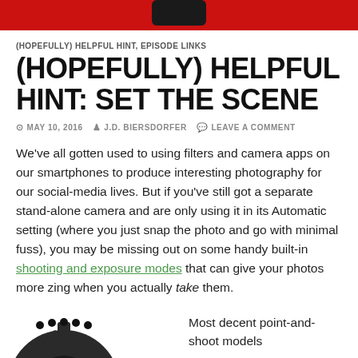[Figure (photo): Red banner at top with a smartphone silhouette]
(HOPEFULLY) HELPFUL HINT, EPISODE LINKS
(HOPEFULLY) HELPFUL HINT: SET THE SCENE
MAY 10, 2016  J.D. BIERSDORFER  LEAVE A COMMENT
We've all gotten used to using filters and camera apps on our smartphones to produce interesting photography for our social-media lives. But if you've still got a separate stand-alone camera and are only using it in its Automatic setting (where you just snap the photo and go with minimal fuss), you may be missing out on some handy built-in shooting and exposure modes that can give your photos more zing when you actually take them.
[Figure (illustration): Dark grey gear/cog wheel partially visible at bottom left]
Most decent point-and-shoot models